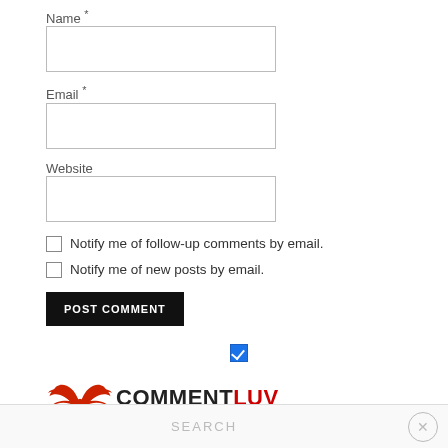Name *
Email *
Website
Notify me of follow-up comments by email.
Notify me of new posts by email.
POST COMMENT
[Figure (logo): CommentLuv logo with red wing icon and COMMENTLUV text]
SEARCH